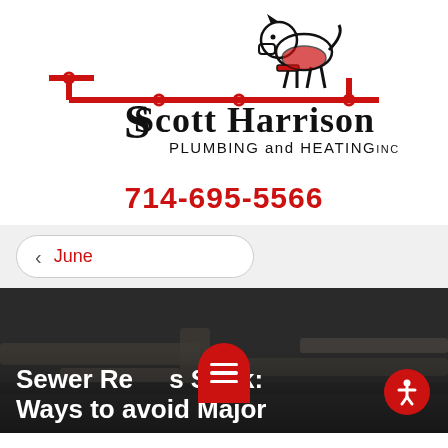[Figure (logo): Scott Harrison Plumbing and Heating Inc logo with cartoon Scottie dog running on red pipes]
714-695-5566
< June
[Figure (photo): Dark background photo of sewer/plumbing pipes with white bold text overlay reading 'Sewer Re[menu]s Stink: [Accessibility icon] Ways to avoid Ma...' with red hamburger menu button and red circular accessibility button overlaid]
Sewer Reds Stink: 4 Ways to avoid Major...